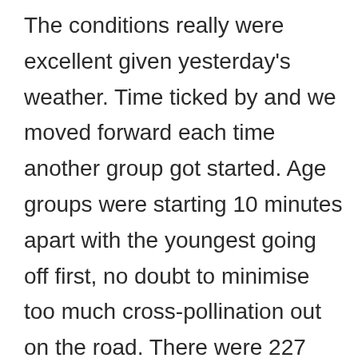The conditions really were excellent given yesterday's weather. Time ticked by and we moved forward each time another group got started. Age groups were starting 10 minutes apart with the youngest going off first, no doubt to minimise too much cross-pollination out on the road. There were 227 riders in